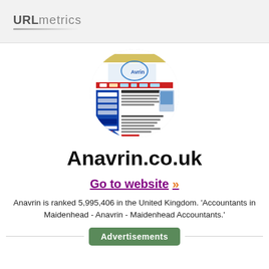URLmetrics
[Figure (screenshot): Circular screenshot of the Anavrin.co.uk website showing the site's homepage with logo, navigation bar, and content sections about accountants in Maidenhead]
Anavrin.co.uk
Go to website >>
Anavrin is ranked 5,995,406 in the United Kingdom. 'Accountants in Maidenhead - Anavrin - Maidenhead Accountants.'
Advertisements